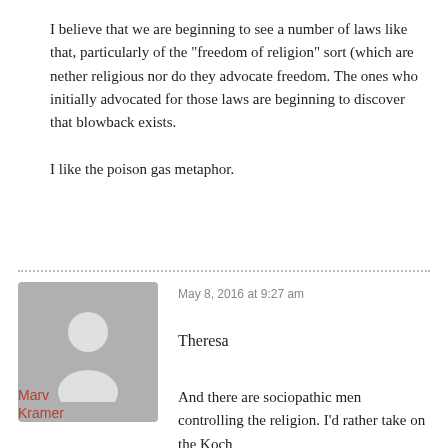I believe that we are beginning to see a number of laws like that, particularly of the “freedom of religion” sort (which are nether religious nor do they advocate freedom. The ones who initially advocated for those laws are beginning to discover that blowback exists.

I like the poison gas metaphor.
May 8, 2016 at 9:27 am
Theresa
Marv Kramer
And there are sociopathic men controlling the religion. I’d rather take on the Koch